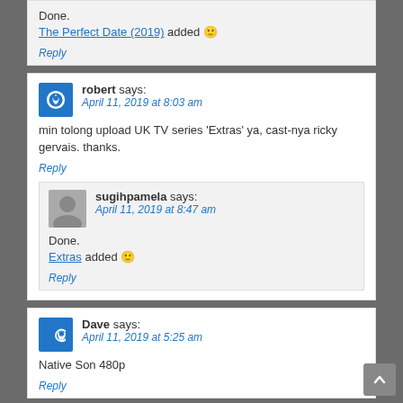Done. The Perfect Date (2019) added 🙂
Reply
robert says: April 11, 2019 at 8:03 am
min tolong upload UK TV series 'Extras' ya, cast-nya ricky gervais. thanks.
Reply
sugihpamela says: April 11, 2019 at 8:47 am
Done. Extras added 🙂
Reply
Dave says: April 11, 2019 at 5:25 am
Native Son 480p
Reply